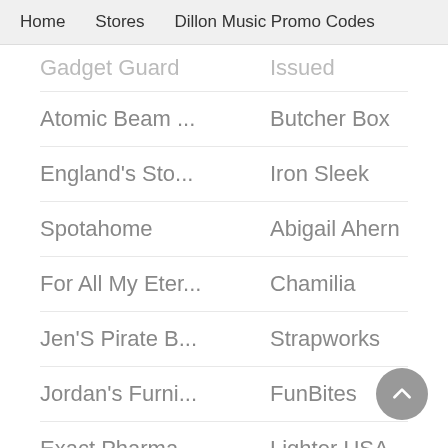Home   Stores   Dillon Music Promo Codes
Gadget Guard   |   Issued
Atomic Beam ...   |   Butcher Box
England's Sto...   |   Iron Sleek
Spotahome   |   Abigail Ahern
For All My Eter...   |   Chamilia
Jen'S Pirate B...   |   Strapworks
Jordan's Furni...   |   FunBites
Exact Pharma   |   Lighter USA